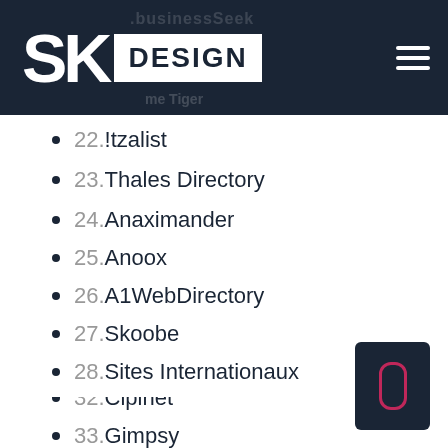SK DESIGN
22.!tzalist
23.Thales Directory
24.Anaximander
25.Anoox
26.A1WebDirectory
27.Skoobe
28.Sites Internationaux
29.IS
30.Sites Web Directory
31.SimilarSiteSearch
32.Cipinet
33.Gimpsy
34.Amidalla